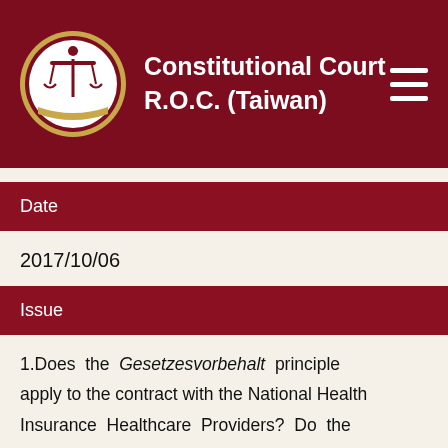Constitutional Court R.O.C. (Taiwan)
Date
2017/10/06
Issue
1.Does the Gesetzesvorbehalt principle apply to the contract with the National Health Insurance Healthcare Providers? Do the relevant provisions of the National Health Insurance Act authorizing the Competent Authority to issue Regulations Governing Contracting and Management of National